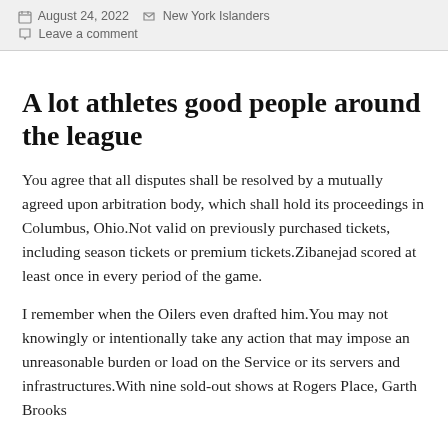August 24, 2022   New York Islanders
Leave a comment
A lot athletes good people around the league
You agree that all disputes shall be resolved by a mutually agreed upon arbitration body, which shall hold its proceedings in Columbus, Ohio.Not valid on previously purchased tickets, including season tickets or premium tickets.Zibanejad scored at least once in every period of the game.
I remember when the Oilers even drafted him.You may not knowingly or intentionally take any action that may impose an unreasonable burden or load on the Service or its servers and infrastructures.With nine sold-out shows at Rogers Place, Garth Brooks